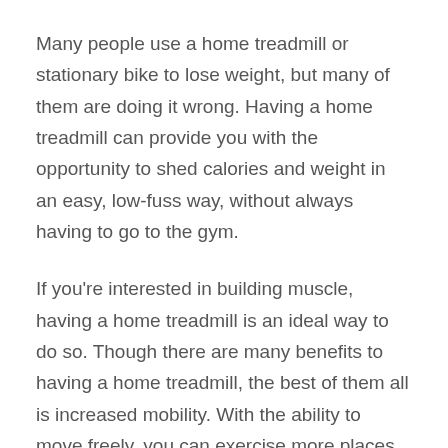Many people use a home treadmill or stationary bike to lose weight, but many of them are doing it wrong. Having a home treadmill can provide you with the opportunity to shed calories and weight in an easy, low-fuss way, without always having to go to the gym.
If you're interested in building muscle, having a home treadmill is an ideal way to do so. Though there are many benefits to having a home treadmill, the best of them all is increased mobility. With the ability to move freely, you can exercise more places and be more active overall.
10 Benefits of a home treadmill